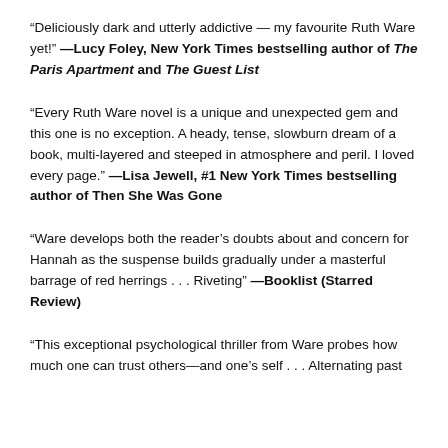“Deliciously dark and utterly addictive — my favourite Ruth Ware yet!” —Lucy Foley, New York Times bestselling author of The Paris Apartment and The Guest List
“Every Ruth Ware novel is a unique and unexpected gem and this one is no exception. A heady, tense, slowburn dream of a book, multi-layered and steeped in atmosphere and peril. I loved every page.” —Lisa Jewell, #1 New York Times bestselling author of Then She Was Gone
“Ware develops both the reader’s doubts about and concern for Hannah as the suspense builds gradually under a masterful barrage of red herrings . . . Riveting” —Booklist (Starred Review)
“This exceptional psychological thriller from Ware probes how much one can trust others—and one’s self . . . Alternating past